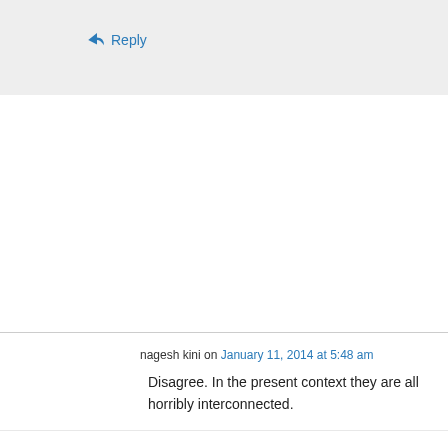↳ Reply
nagesh kini on January 11, 2014 at 5:48 am
Disagree. In the present context they are all horribly interconnected.
When their 'more learned' southern (that the
Privacy & Cookies: This site uses cookies. By continuing to use this website, you agree to their use.
To find out more, including how to control cookies, see here: Cookie Policy
Close and accept